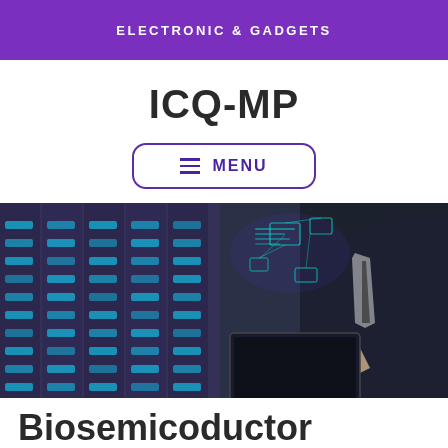ELECTRONIC & GADGETS
ICQ-MP
MENU
[Figure (photo): Person in business suit holding a tablet with holographic digital network interface, standing in front of server racks with blue lighting]
Biosemicoductor